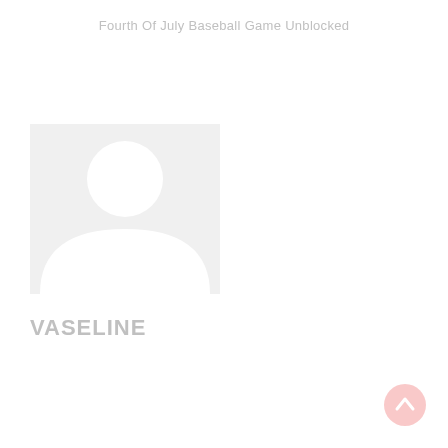Fourth Of July Baseball Game Unblocked
[Figure (illustration): Generic placeholder person silhouette icon — white figure outline on light gray background square]
VASELINE